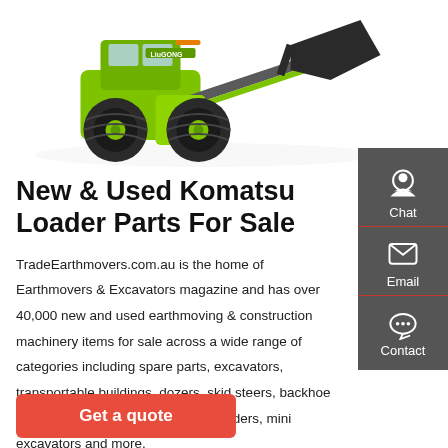[Figure (photo): LiuGong green wheel loader with large bucket raised, photographed on white background]
New & Used Komatsu Loader Parts For Sale
TradeEarthmovers.com.au is the home of Earthmovers & Excavators magazine and has over 40,000 new and used earthmoving & construction machinery items for sale across a wide range of categories including spare parts, excavators, transportable buildings, dozers, skid steers, backhoe loaders, machinery attachments, loaders, mini excavators and more.
Get a quote